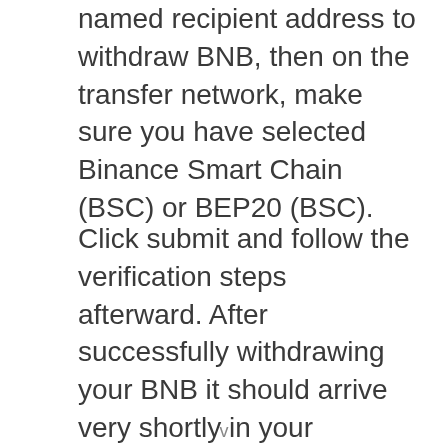named recipient address to withdraw BNB, then on the transfer network, make sure you have selected Binance Smart Chain (BSC) or BEP20 (BSC).
Click submit and follow the verification steps afterward. After successfully withdrawing your BNB it should arrive very shortly in your Metamask wallet.
v